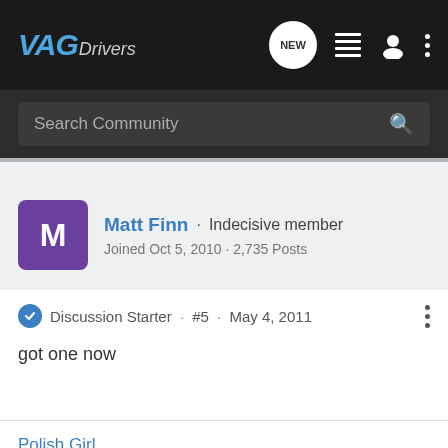VAGDrivers
Search Community
Matt Finn · Indecisive member
Joined Oct 5, 2010 · 2,735 Posts
Discussion Starter · #5 · May 4, 2011
got one now
Polish Girl